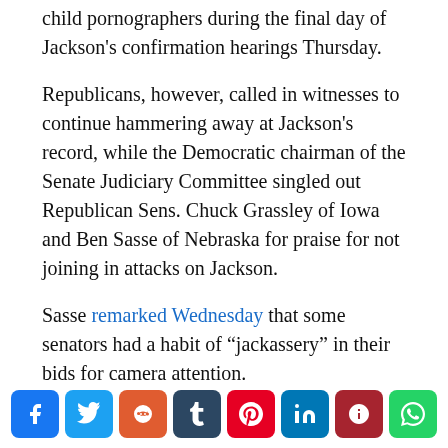child pornographers during the final day of Jackson's confirmation hearings Thursday.
Republicans, however, called in witnesses to continue hammering away at Jackson's record, while the Democratic chairman of the Senate Judiciary Committee singled out Republican Sens. Chuck Grassley of Iowa and Ben Sasse of Nebraska for praise for not joining in attacks on Jackson.
Sasse remarked Wednesday that some senators had a habit of “jackassery” in their bids for camera attention.
Following two days of sometimes intense questioning of Jackson, Thursday’s hearing was more relaxed as senators questioned three members of the ABA’s Standing Committee on the Federal Judiciary and other outside witnesses.
[Figure (infographic): Social media share buttons: Facebook, Twitter, Reddit, Tumblr, Pinterest, LinkedIn, Parler, WhatsApp]